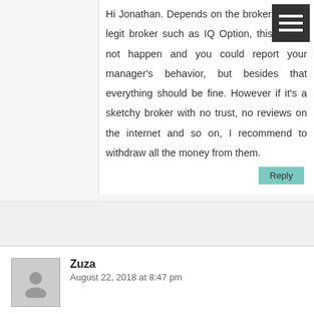Hi Jonathan. Depends on the broker. If it's a legit broker such as IQ Option, this should not happen and you could report your manager's behavior, but besides that everything should be fine. However if it's a sketchy broker with no trust, no reviews on the internet and so on, I recommend to withdraw all the money from them.
Reply
Zuza
August 22, 2018 at 8:47 pm